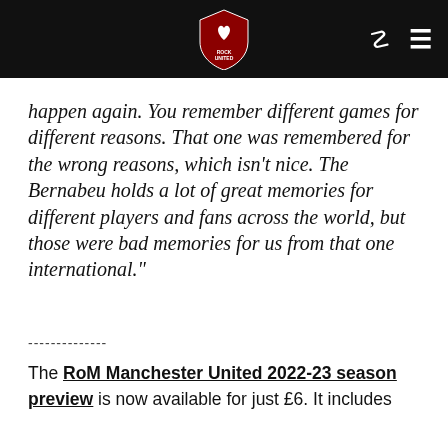[RoM logo, search icon, menu icon]
happen again. You remember different games for different reasons. That one was remembered for the wrong reasons, which isn't nice. The Bernabeu holds a lot of great memories for different players and fans across the world, but those were bad memories for us from that one international."
--------------
The RoM Manchester United 2022-23 season preview is now available for just £6. It includes